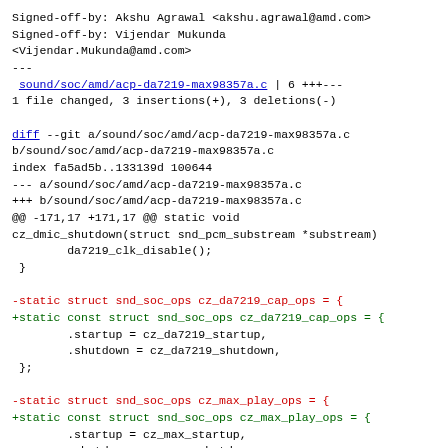Signed-off-by: Akshu Agrawal <akshu.agrawal@amd.com>
Signed-off-by: Vijendar Mukunda
<Vijendar.Mukunda@amd.com>
---
 sound/soc/amd/acp-da7219-max98357a.c | 6 +++---
1 file changed, 3 insertions(+), 3 deletions(-)

diff --git a/sound/soc/amd/acp-da7219-max98357a.c
b/sound/soc/amd/acp-da7219-max98357a.c
index fa5ad5b..133139d 100644
--- a/sound/soc/amd/acp-da7219-max98357a.c
+++ b/sound/soc/amd/acp-da7219-max98357a.c
@@ -171,17 +171,17 @@ static void
cz_dmic_shutdown(struct snd_pcm_substream *substream)
        da7219_clk_disable();
 }

-static struct snd_soc_ops cz_da7219_cap_ops = {
+static const struct snd_soc_ops cz_da7219_cap_ops = {
        .startup = cz_da7219_startup,
        .shutdown = cz_da7219_shutdown,
 };

-static struct snd_soc_ops cz_max_play_ops = {
+static const struct snd_soc_ops cz_max_play_ops = {
        .startup = cz_max_startup,
        .shutdown = cz_max_shutdown,
 };

-static struct snd_soc_ops cz_da7219_cap_ops = {